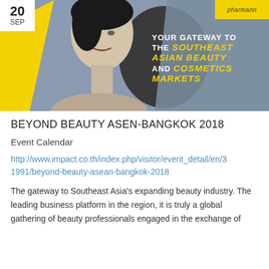[Figure (photo): Event promotional banner for Beyond Beauty ASEAN-Bangkok 2018. Shows a stylized black-and-white image of a woman against a grey and yellow background, with text overlay reading 'YOUR GATEWAY TO THE SOUTHEAST ASIAN BEAUTY AND COSMETICS MARKETS'. Date '20 SEP' shown in top-left corner and 'pharmann' logo in top-right yellow tag.]
BEYOND BEAUTY ASEN-BANGKOK 2018
Event Calendar
http://www.impact.co.th/index.php/visitor/event_detail/en/31991/beyond-beauty-asean-bangkok-2018
The gateway to Southeast Asia's expanding beauty industry. The leading business platform in the region, it is truly a global gathering of beauty professionals engaged in the exchange of